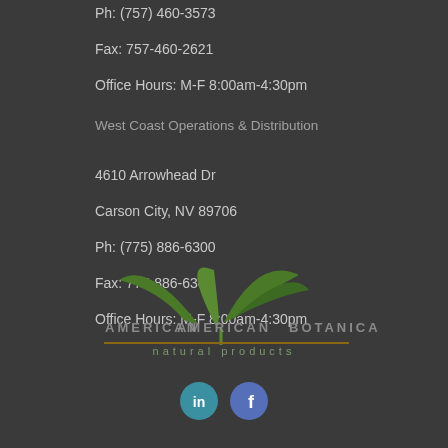Ph: (757) 460-3573
Fax: 757-460-2621
Office Hours: M-F 8:00am-4:30pm
West Coast Operations & Distribution
4610 Arrowhead Dr
Carson City, NV 89706
Ph: (775) 886-6300
Fax: 775-886-6301
Office Hours: M-F 8:00am-4:30pm
[Figure (logo): American Botanicals natural products logo with plant sprouting leaves graphic]
[Figure (other): LinkedIn and Facebook social media icons]